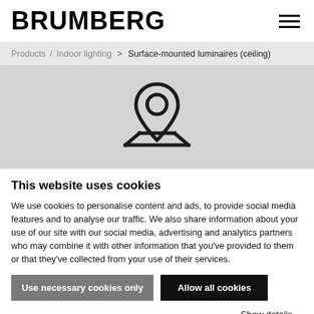BRUMBERG
Products / Indoor lighting > Surface-mounted luminaires (ceiling)
[Figure (illustration): Location pin / map marker icon on a grey background representing a map with no results found]
This website uses cookies
We use cookies to personalise content and ads, to provide social media features and to analyse our traffic. We also share information about your use of our site with our social media, advertising and analytics partners who may combine it with other information that you've provided to them or that they've collected from your use of their services.
Use necessary cookies only
Allow all cookies
Show details